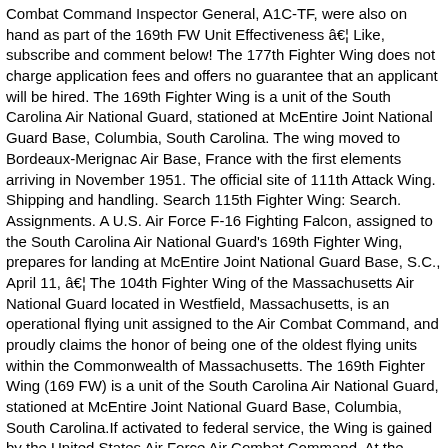Combat Command Inspector General, A1C-TF, were also on hand as part of the 169th FW Unit Effectiveness â€¦ Like, subscribe and comment below! The 177th Fighter Wing does not charge application fees and offers no guarantee that an applicant will be hired. The 169th Fighter Wing is a unit of the South Carolina Air National Guard, stationed at McEntire Joint National Guard Base, Columbia, South Carolina. The wing moved to Bordeaux-Merignac Air Base, France with the first elements arriving in November 1951. The official site of 111th Attack Wing. Shipping and handling. Search 115th Fighter Wing: Search. Assignments. A U.S. Air Force F-16 Fighting Falcon, assigned to the South Carolina Air National Guard's 169th Fighter Wing, prepares for landing at McEntire Joint National Guard Base, S.C., April 11, â€¦ The 104th Fighter Wing of the Massachusetts Air National Guard located in Westfield, Massachusetts, is an operational flying unit assigned to the Air Combat Command, and proudly claims the honor of being one of the oldest flying units within the Commonwealth of Massachusetts. The 169th Fighter Wing (169 FW) is a unit of the South Carolina Air National Guard, stationed at McEntire Joint National Guard Base, Columbia, South Carolina.If activated to federal service, the Wing is gained by the United States Air Force Air Combat Command. At the 115th Fighter Wing, protecting the environment is one of our highest priorities and will be a major factor in decision making. 169th Operations; 169th Maintenance; 169th Mission Support; 169th Medical.